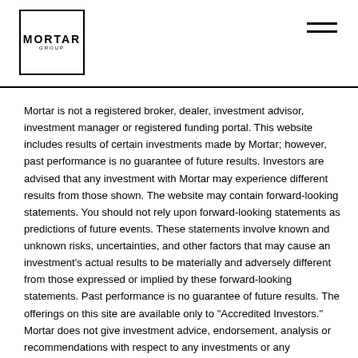MORTAR GROUP
Mortar is not a registered broker, dealer, investment advisor, investment manager or registered funding portal. This website includes results of certain investments made by Mortar; however, past performance is no guarantee of future results. Investors are advised that any investment with Mortar may experience different results from those shown. The website may contain forward-looking statements. You should not rely upon forward-looking statements as predictions of future events. These statements involve known and unknown risks, uncertainties, and other factors that may cause an investment's actual results to be materially and adversely different from those expressed or implied by these forward-looking statements. Past performance is no guarantee of future results. The offerings on this site are available only to "Accredited Investors." Mortar does not give investment advice, endorsement, analysis or recommendations with respect to any investments or any information provided on this website. Neither Mortar nor any of its officers, directors, agents and employees makes any warranty, express or implied, of any kind related to the adequacy, accuracy or completeness of any such information on this site or the use of such